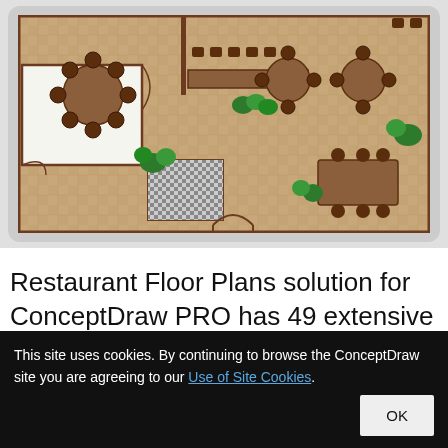[Figure (schematic): Restaurant floor plan diagram showing tables with chairs, plants, a kitchen/bathroom area with checkered floor tiles, and a counter area. The floor has a wood-pattern tile design in warm tan/brown colors. Multiple round and rectangular tables with dark brown chairs are arranged throughout the space. Green potted plants are placed at various corners and walls.]
Restaurant Floor Plans solution for ConceptDraw PRO has 49 extensive restaurant symbol libraries that contains
This site uses cookies. By continuing to browse the ConceptDraw site you are agreeing to our Use of Site Cookies.